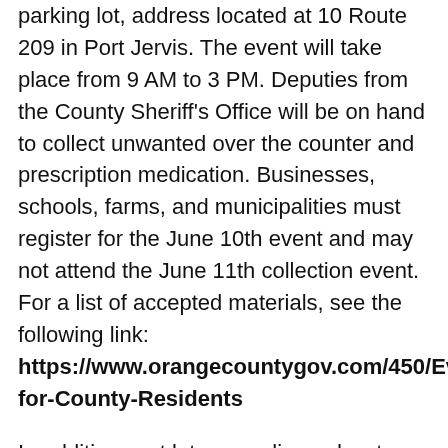parking lot, address located at 10 Route 209 in Port Jervis. The event will take place from 9 AM to 3 PM. Deputies from the County Sheriff's Office will be on hand to collect unwanted over the counter and prescription medication. Businesses, schools, farms, and municipalities must register for the June 10th event and may not attend the June 11th collection event. For a list of accepted materials, see the following link: https://www.orangecountygov.com/450/Events-for-County-Residents
In addition, wet latex, acrylic, and water-based paints will now be accepted at Orange County hazardous materials collection events through a partnership with PaintCare, a new paint stewardship program established by the New York State Department of Environmental Conservation